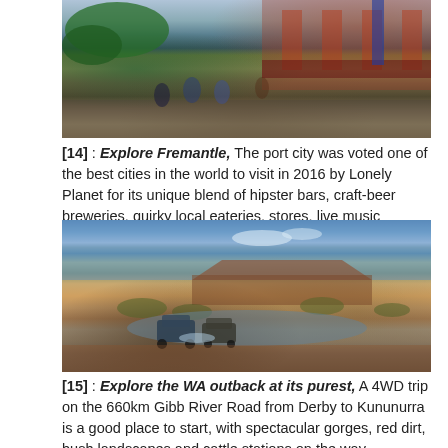[Figure (photo): Street scene in Fremantle showing outdoor cafe seating, trees with coloured umbrellas, and historic shopfront buildings]
[14] : Explore Fremantle, The port city was voted one of the best cities in the world to visit in 2016 by Lonely Planet for its unique blend of hipster bars, craft-beer breweries, quirky local eateries, stores, live music
[Figure (photo): 4WD vehicles crossing a shallow river in the WA outback, with red dirt landscape, mesa, and sparse bush vegetation under a blue sky]
[15] : Explore the WA outback at its purest, A 4WD trip on the 660km Gibb River Road from Derby to Kununurra is a good place to start, with spectacular gorges, red dirt, bush landscapes and cattle stations on the way.